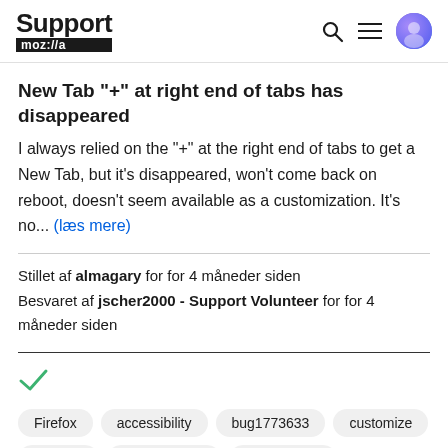Support moz://a
New Tab "+" at right end of tabs has disappeared
I always relied on the "+" at the right end of tabs to get a New Tab, but it's disappeared, won't come back on reboot, doesn't seem available as a customization. It's no... (læs mere)
Stillet af almagary for for 4 måneder siden
Besvaret af jscher2000 - Support Volunteer for for 4 måneder siden
[Figure (other): Green checkmark icon]
Firefox   accessibility   bug1773633   customize